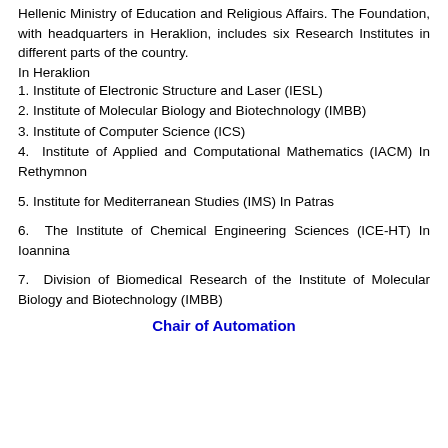Hellenic Ministry of Education and Religious Affairs. The Foundation, with headquarters in Heraklion, includes six Research Institutes in different parts of the country.
In Heraklion
1. Institute of Electronic Structure and Laser (IESL)
2. Institute of Molecular Biology and Biotechnology (IMBB)
3. Institute of Computer Science (ICS)
4. Institute of Applied and Computational Mathematics (IACM) In Rethymnon
5. Institute for Mediterranean Studies (IMS) In Patras
6. The Institute of Chemical Engineering Sciences (ICE-HT) In Ioannina
7. Division of Biomedical Research of the Institute of Molecular Biology and Biotechnology (IMBB)
Chair of Automation